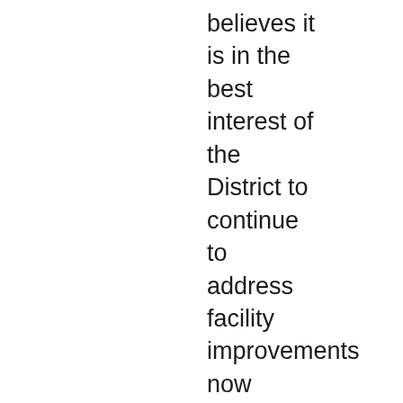believes it is in the best interest of the District to continue to address facility improvements now before they become more pressing and more costly, and provide